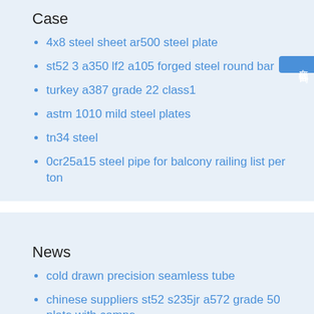Case
4x8 steel sheet ar500 steel plate
st52 3 a350 lf2 a105 forged steel round bar
turkey a387 grade 22 class1
astm 1010 mild steel plates
tn34 steel
0cr25a15 steel pipe for balcony railing list per ton
News
cold drawn precision seamless tube
chinese suppliers st52 s235jr a572 grade 50 plate with compe